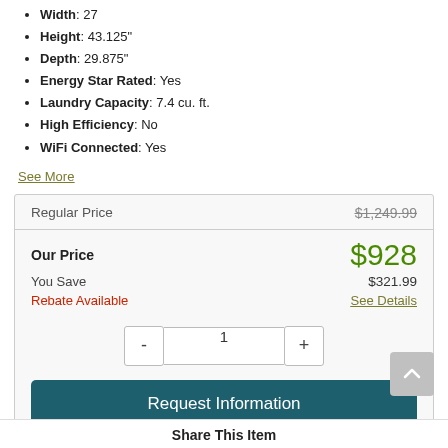Width: 27
Height: 43.125"
Depth: 29.875"
Energy Star Rated: Yes
Laundry Capacity: 7.4 cu. ft.
High Efficiency: No
WiFi Connected: Yes
See More
| Regular Price | $1,249.99 |
| Our Price | $928 |
| You Save | $321.99 |
| Rebate Available | See Details |
Request Information
Share This Item